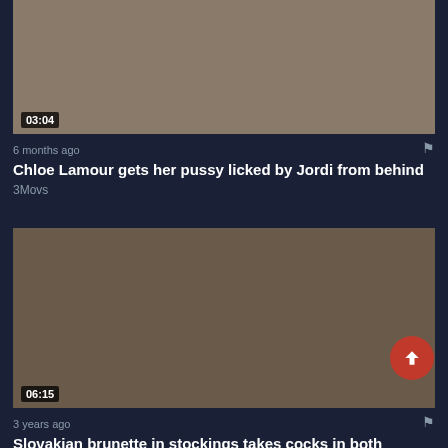[Figure (screenshot): Video thumbnail showing two people on a bed with gray sheets, one wearing red high heels. Duration badge shows 03:04.]
6 months ago
Chloe Lamour gets her pussy licked by Jordi from behind
3Movs
[Figure (screenshot): Video thumbnail showing multiple people in an intimate scene. Duration badge shows 06:15.]
3 years ago
Slovakian brunette in stockings takes cocks in both orifices